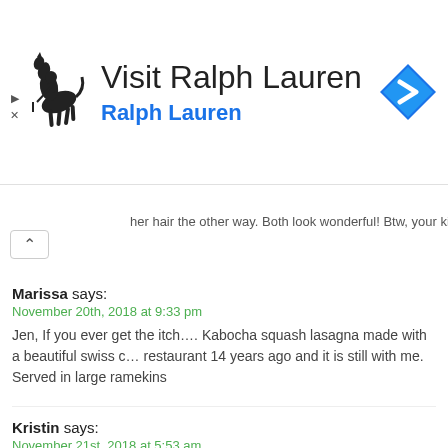[Figure (logo): Ralph Lauren advertisement banner with polo horse logo, navigation diamond icon, title 'Visit Ralph Lauren' and subtitle 'Ralph Lauren' in blue]
her hair the other way. Both look wonderful! Btw, your kitchen looks beautiful!!
Marissa says:
November 20th, 2018 at 9:33 pm

Jen, If you ever get the itch…. Kabocha squash lasagna made with a beautiful swiss c… restaurant 14 years ago and it is still with me. Served in large ramekins
Kristin says:
November 21st, 2018 at 5:53 am

Love your appliances!! I have looked in vain for kabocha squash for years. We finally h… so I will go take a look. I just had a friend from Australia visiting, and she really wante… me. Then we went to Miami together to visit a friend and, while he was working, we we… checked out. And there was one across the street from our hotel. So now she is proba… that there was one a little bit closer to me!
Mary Karen Euler says:
November 21st, 2018 at 1:01 pm

I can't believe you've been creating such glorious culinary masterpieces using a "crapp…